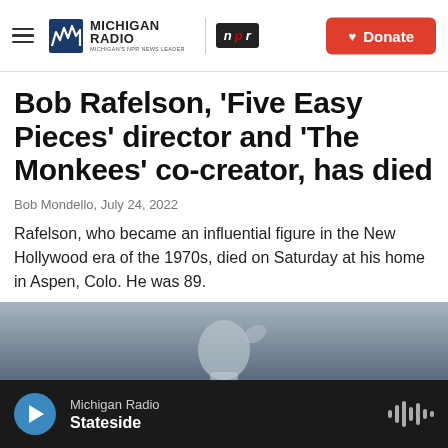Michigan Radio | NPR | Donate
Bob Rafelson, 'Five Easy Pieces' director and 'The Monkees' co-creator, has died
Bob Mondello, July 24, 2022
Rafelson, who became an influential figure in the New Hollywood era of the 1970s, died on Saturday at his home in Aspen, Colo. He was 89.
LISTEN • 2:05
[Figure (photo): Partial photo strip showing top of a person's head against a grey-blue background]
Michigan Radio | Stateside